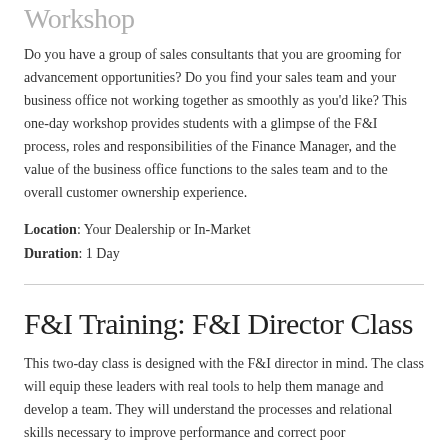Workshop
Do you have a group of sales consultants that you are grooming for advancement opportunities? Do you find your sales team and your business office not working together as smoothly as you'd like? This one-day workshop provides students with a glimpse of the F&I process, roles and responsibilities of the Finance Manager, and the value of the business office functions to the sales team and to the overall customer ownership experience.
Location: Your Dealership or In-Market
Duration: 1 Day
F&I Training: F&I Director Class
This two-day class is designed with the F&I director in mind. The class will equip these leaders with real tools to help them manage and develop a team. They will understand the processes and relational skills necessary to improve performance and correct poor